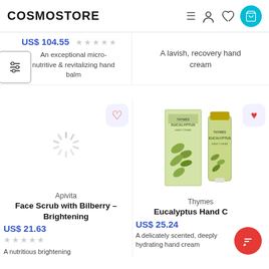COSMOSTORE
US$ 104.55
An exceptional micro-nutritive & revitalizing hand balm
A lavish, recovery hand cream
[Figure (illustration): Loading spinner / placeholder image for Apivita product]
Apivita
Face Scrub with Bilberry - Brightening
US$ 21.63
A nutritious brightening
[Figure (photo): Thymes Eucalyptus Hand Cream product - box and tube with green eucalyptus design]
Thymes
Eucalyptus Hand Cream
US$ 25.24
A delicately scented, deeply hydrating hand cream